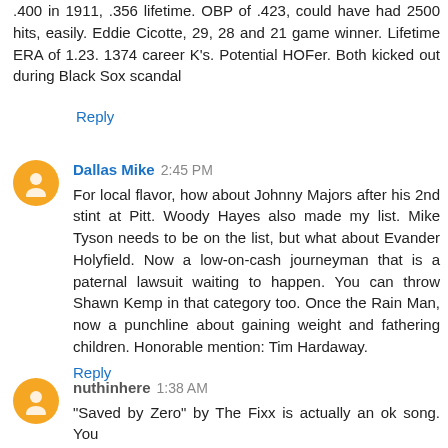.400 in 1911, .356 lifetime. OBP of .423, could have had 2500 hits, easily. Eddie Cicotte, 29, 28 and 21 game winner. Lifetime ERA of 1.23. 1374 career K's. Potential HOFer. Both kicked out during Black Sox scandal
Reply
Dallas Mike  2:45 PM
For local flavor, how about Johnny Majors after his 2nd stint at Pitt. Woody Hayes also made my list. Mike Tyson needs to be on the list, but what about Evander Holyfield. Now a low-on-cash journeyman that is a paternal lawsuit waiting to happen. You can throw Shawn Kemp in that category too. Once the Rain Man, now a punchline about gaining weight and fathering children. Honorable mention: Tim Hardaway.
Reply
nuthinhere  1:38 AM
"Saved by Zero" by The Fixx is actually an ok song. You